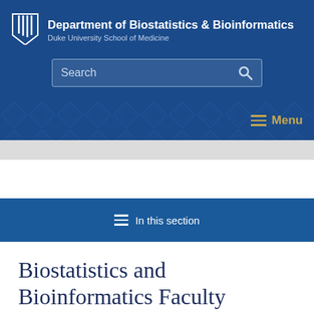Department of Biostatistics & Bioinformatics | Duke University School of Medicine
[Figure (logo): Duke University shield/logo in white]
In this section
Biostatistics and Bioinformatics Faculty